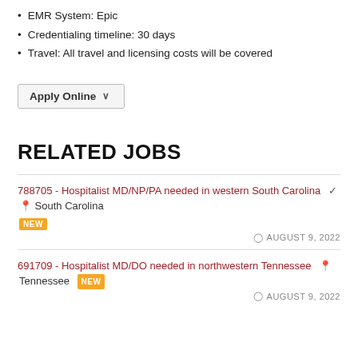EMR System: Epic
Credentialing timeline: 30 days
Travel: All travel and licensing costs will be covered
Apply Online ∨
RELATED JOBS
788705 - Hospitalist MD/NP/PA needed in western South Carolina  South Carolina NEW  AUGUST 9, 2022
691709 - Hospitalist MD/DO needed in northwestern Tennessee  Tennessee NEW  AUGUST 9, 2022